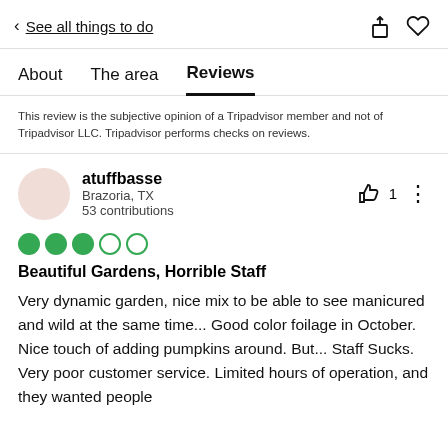< See all things to do
About  The area  Reviews
This review is the subjective opinion of a Tripadvisor member and not of Tripadvisor LLC. Tripadvisor performs checks on reviews.
atuffbasse
Brazoria, TX
53 contributions
Beautiful Gardens, Horrible Staff
Very dynamic garden, nice mix to be able to see manicured and wild at the same time... Good color foilage in October. Nice touch of adding pumpkins around. But... Staff Sucks. Very poor customer service. Limited hours of operation, and they wanted people